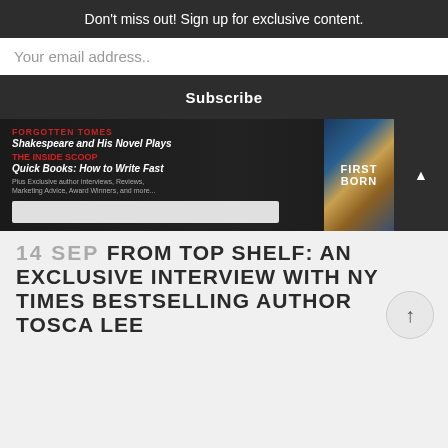Don't miss out! Sign up for exclusive content.
Your email address..
Subscribe
[Figure (screenshot): Magazine banner ad with dark background showing 'FORGOTTEN TOMES Shakespeare and His Novel Plays', 'THE INSIDE SCOOP Quick Books: How to Write Fast', a book cover for FIRSTBORN, and an email signup box]
14 SEP FROM TOP SHELF: AN EXCLUSIVE INTERVIEW WITH NY TIMES BESTSELLING AUTHOR TOSCA LEE